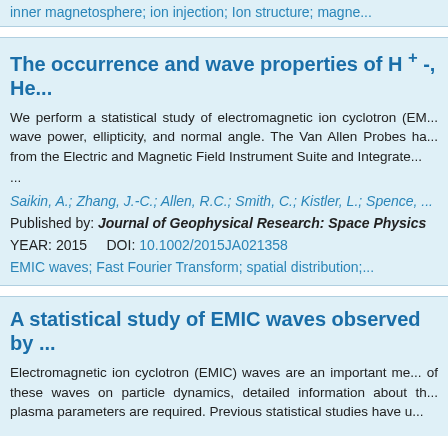inner magnetosphere; ion injection; Ion structure; magne...
The occurrence and wave properties of H +-, He...
We perform a statistical study of electromagnetic ion cyclotron (EMIC) wave power, ellipticity, and normal angle. The Van Allen Probes ha... from the Electric and Magnetic Field Instrument Suite and Integrate... ...
Saikin, A.; Zhang, J.-C.; Allen, R.C.; Smith, C.; Kistler, L.; Spence, ...
Published by: Journal of Geophysical Research: Space Physics
YEAR: 2015    DOI: 10.1002/2015JA021358
EMIC waves; Fast Fourier Transform; spatial distribution;...
A statistical study of EMIC waves observed by ...
Electromagnetic ion cyclotron (EMIC) waves are an important me... of these waves on particle dynamics, detailed information about th... plasma parameters are required. Previous statistical studies have u...